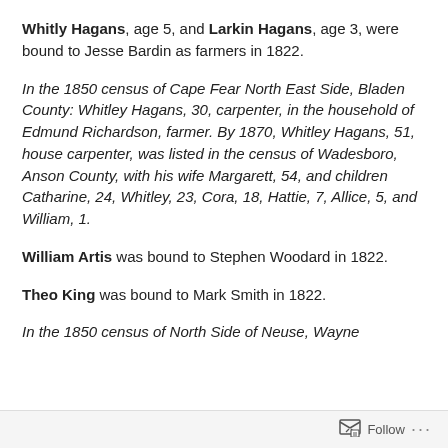Whitly Hagans, age 5, and Larkin Hagans, age 3, were bound to Jesse Bardin as farmers in 1822.
In the 1850 census of Cape Fear North East Side, Bladen County: Whitley Hagans, 30, carpenter, in the household of Edmund Richardson, farmer. By 1870, Whitley Hagans, 51, house carpenter, was listed in the census of Wadesboro, Anson County, with his wife Margarett, 54, and children Catharine, 24, Whitley, 23, Cora, 18, Hattie, 7, Allice, 5, and William, 1.
William Artis was bound to Stephen Woodard in 1822.
Theo King was bound to Mark Smith in 1822.
In the 1850 census of North Side of Neuse, Wayne
Follow